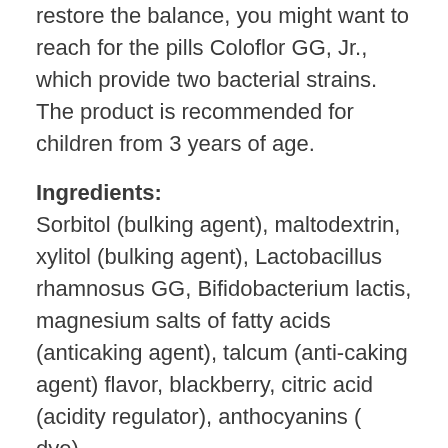restore the balance, you might want to reach for the pills Coloflor GG, Jr., which provide two bacterial strains. The product is recommended for children from 3 years of age.
Ingredients:
Sorbitol (bulking agent), maltodextrin, xylitol (bulking agent), Lactobacillus rhamnosus GG, Bifidobacterium lactis, magnesium salts of fatty acids (anticaking agent), talcum (anti-caking agent) flavor, blackberry, citric acid (acidity regulator), anthocyanins ( dye).
The content of the two tablets, the recommended daily dose 3.5 billion live bacteria, including: 1.75 billion live bacteria Lactobacillus rhamnosus GG